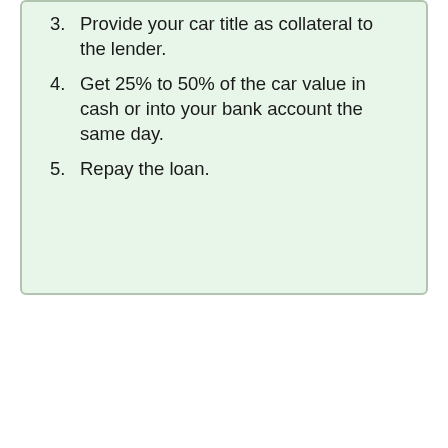3. Provide your car title as collateral to the lender.
4. Get 25% to 50% of the car value in cash or into your bank account the same day.
5. Repay the loan.